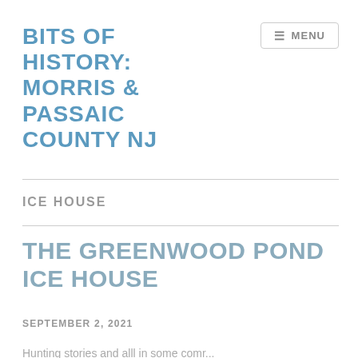BITS OF HISTORY: MORRIS & PASSAIC COUNTY NJ
≡ MENU
ICE HOUSE
THE GREENWOOD POND ICE HOUSE
SEPTEMBER 2, 2021
Hunting stories and all in some provincial txt...